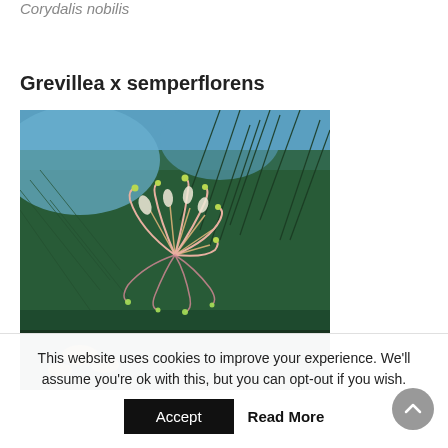Corydalis nobilis
Grevillea x semperflorens
[Figure (photo): Close-up photograph of Grevillea x semperflorens flowers showing distinctive spider-like pink and yellow-green blooms with curling stamens against dark green needle foliage and blue sky background]
This website uses cookies to improve your experience. We'll assume you're ok with this, but you can opt-out if you wish.
Accept
Read More